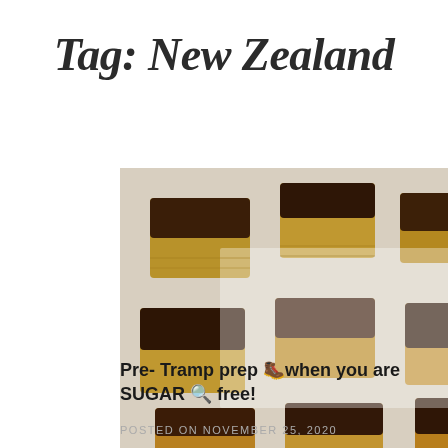Tag: New Zealand
[Figure (photo): Overhead photo of chocolate-topped oat bar squares arranged on white parchment paper on a wooden surface]
Pre- Tramp prep 🥾when you are SUGAR 🔍 free!
POSTED ON NOVEMBER 25, 2020